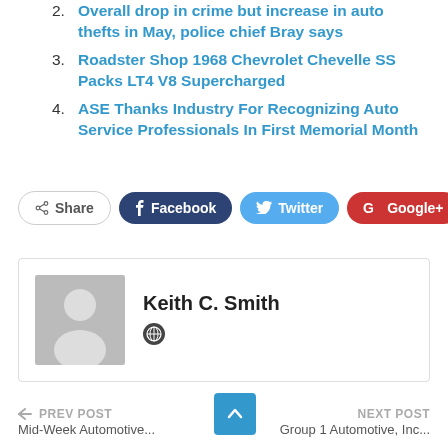2. Overall drop in crime but increase in auto thefts in May, police chief Bray says
3. Roadster Shop 1968 Chevrolet Chevelle SS Packs LT4 V8 Supercharged
4. ASE Thanks Industry For Recognizing Auto Service Professionals In First Memorial Month
[Figure (screenshot): Social share buttons: Share, Facebook, Twitter, Google+, Plus]
[Figure (infographic): Author box with avatar placeholder and name Keith C. Smith with a small globe icon]
[Figure (screenshot): Navigation bar with PREV POST arrow, up arrow button, NEXT POST, and partial post titles Mid-Week Automotive and Group 1 Automotive, Inc]